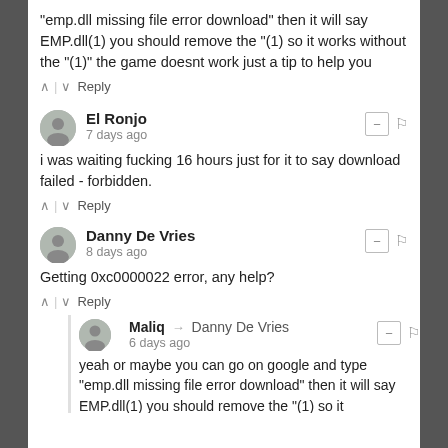"emp.dll missing file error download" then it will say EMP.dll(1) you should remove the "(1) so it works without the "(1)" the game doesnt work just a tip to help you
^ | v Reply
El Ronjo
7 days ago
i was waiting fucking 16 hours just for it to say download failed - forbidden.
^ | v Reply
Danny De Vries
8 days ago
Getting 0xc0000022 error, any help?
^ | v Reply
Maliq → Danny De Vries
6 days ago
yeah or maybe you can go on google and type "emp.dll missing file error download" then it will say EMP.dll(1) you should remove the "(1) so it